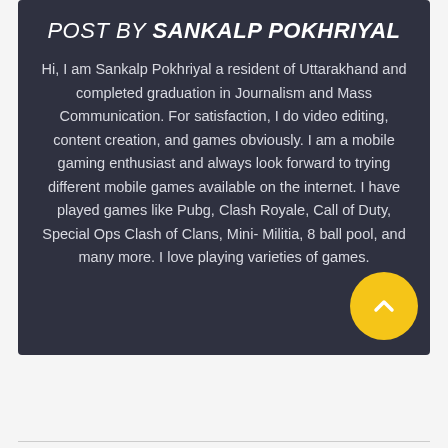POST BY SANKALP POKHRIYAL
Hi, I am Sankalp Pokhriyal a resident of Uttarakhand and completed graduation in Journalism and Mass Communication. For satisfaction, I do video editing, content creation, and games obviously. I am a mobile gaming enthusiast and always look forward to trying different mobile games available on the internet. I have played games like Pubg, Clash Royale, Call of Duty, Special Ops Clash of Clans, Mini- Militia, 8 ball pool, and many more. I love playing varieties of games.
[Figure (other): Yellow circular scroll-to-top button with upward chevron arrow]